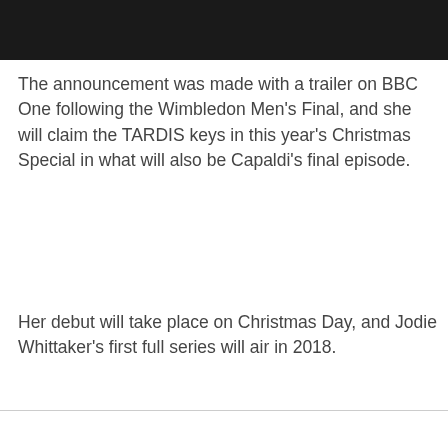[Figure (photo): Dark photograph showing a figure outdoors with foliage in background]
The announcement was made with a trailer on BBC One following the Wimbledon Men's Final, and she will claim the TARDIS keys in this year's Christmas Special in what will also be Capaldi's final episode.
Her debut will take place on Christmas Day, and Jodie Whittaker's first full series will air in 2018.